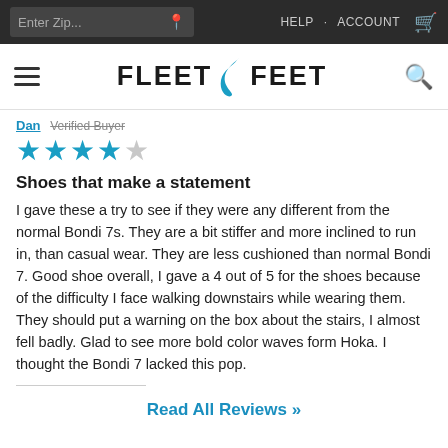Enter Zip... | HELP  ACCOUNT
[Figure (logo): Fleet Feet logo with teal flame icon]
Dan  Verified Buyer
[Figure (other): 4 out of 5 star rating — 4 filled teal stars and 1 empty star]
Shoes that make a statement
I gave these a try to see if they were any different from the normal Bondi 7s. They are a bit stiffer and more inclined to run in, than casual wear. They are less cushioned than normal Bondi 7. Good shoe overall, I gave a 4 out of 5 for the shoes because of the difficulty I face walking downstairs while wearing them. They should put a warning on the box about the stairs, I almost fell badly. Glad to see more bold color waves form Hoka. I thought the Bondi 7 lacked this pop.
Read All Reviews »